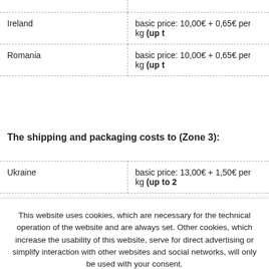| Country | Pricing |
| --- | --- |
| Ireland | basic price: 10,00€ + 0,65€ per kg (up to ...) |
| Romania | basic price: 10,00€ + 0,65€ per kg (up to ...) |
The shipping and packaging costs to (Zone 3):
| Country | Pricing |
| --- | --- |
| Ukraine | basic price: 13,00€ + 1,50€ per kg (up to 2...) |
This website uses cookies, which are necessary for the technical operation of the website and are always set. Other cookies, which increase the usability of this website, serve for direct advertising or simplify interaction with other websites and social networks, will only be used with your consent.
More information